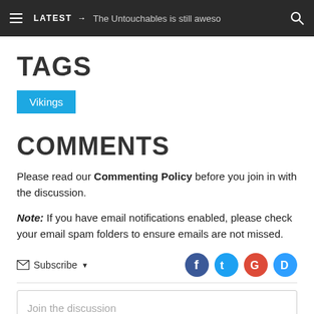LATEST → The Untouchables is still aweso
TAGS
Vikings
COMMENTS
Please read our Commenting Policy before you join in with the discussion.
Note: If you have email notifications enabled, please check your email spam folders to ensure emails are not missed.
Subscribe
Join the discussion